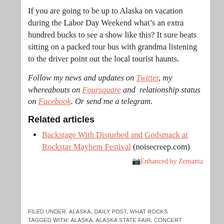If you are going to be up to Alaska on vacation during the Labor Day Weekend what’s an extra hundred bucks to see a show like this? It sure beats sitting on a packed tour bus with grandma listening to the driver point out the local tourist haunts.
Follow my news and updates on Twitter, my whereabouts on Foursquare and  relationship status on Facebook. Or send me a telegram.
Related articles
Backstage With Disturbed and Godsmack at Rockstar Mayhem Festival (noisecreep.com)
[Figure (other): Enhanced by Zemanta badge/link]
FILED UNDER: ALASKA, DAILY POST, WHAT ROCKS
TAGGED WITH: ALASKA, ALASKA STATE FAIR, CONCERT